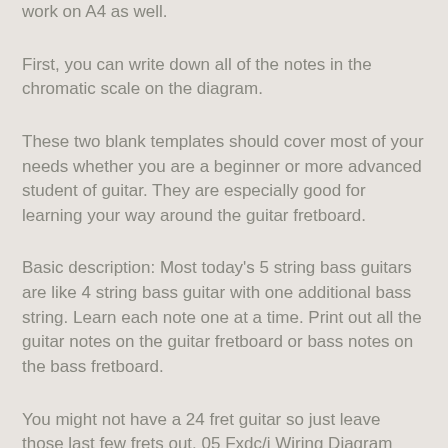work on A4 as well.
First, you can write down all of the notes in the chromatic scale on the diagram.
These two blank templates should cover most of your needs whether you are a beginner or more advanced student of guitar. They are especially good for learning your way around the guitar fretboard.
Basic description: Most today's 5 string bass guitars are like 4 string bass guitar with one additional bass string. Learn each note one at a time. Print out all the guitar notes on the guitar fretboard or bass notes on the bass fretboard.
You might not have a 24 fret guitar so just leave those last few frets out. 05 Fxdc/i Wiring Diagram Hardly Turns Over